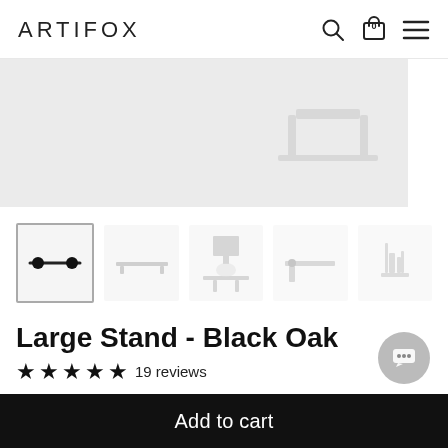ARTIFOX
[Figure (photo): Main product image area — light grey background with faint desk stand product visible]
[Figure (photo): Thumbnail row of 5 product photos: close-up of stand hardware, full stand side view, desk with monitor setup, close-up of stand corner, accessories on stand]
Large Stand - Black Oak
★★★★★ 19 reviews
Add to cart